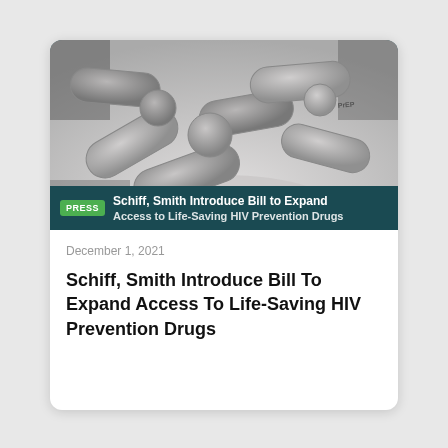[Figure (photo): Black and white close-up photo of various pills and tablets in a hand, with 'PrEP' visible on one tablet]
PRESS Schiff, Smith Introduce Bill to Expand Access to Life-Saving HIV Prevention Drugs
December 1, 2021
Schiff, Smith Introduce Bill To Expand Access To Life-Saving HIV Prevention Drugs